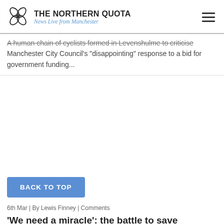THE NORTHERN QUOTA — News Live from Manchester
A human chain of cyclists formed in Levenshulme to criticise Manchester City Council's "disappointing" response to a bid for government funding...
BACK TO TOP
6th Mar | By Lewis Finney | Comments
'We need a miracle': the battle to save Ryebank